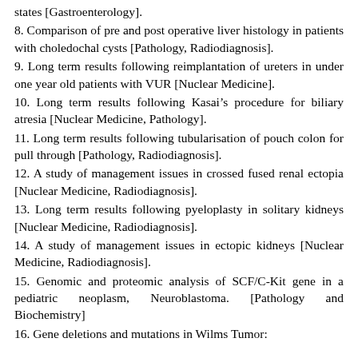states [Gastroenterology].
8. Comparison of pre and post operative liver histology in patients with choledochal cysts [Pathology, Radiodiagnosis].
9. Long term results following reimplantation of ureters in under one year old patients with VUR [Nuclear Medicine].
10. Long term results following Kasai’s procedure for biliary atresia [Nuclear Medicine, Pathology].
11. Long term results following tubularisation of pouch colon for pull through [Pathology, Radiodiagnosis].
12. A study of management issues in crossed fused renal ectopia [Nuclear Medicine, Radiodiagnosis].
13. Long term results following pyeloplasty in solitary kidneys [Nuclear Medicine, Radiodiagnosis].
14. A study of management issues in ectopic kidneys [Nuclear Medicine, Radiodiagnosis].
15. Genomic and proteomic analysis of SCF/C-Kit gene in a pediatric neoplasm, Neuroblastoma. [Pathology and Biochemistry]
16. Gene deletions and mutations in Wilms Tumor: